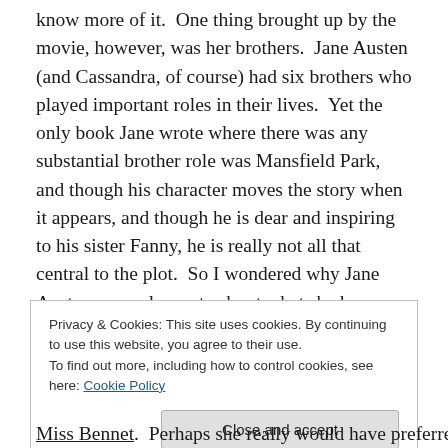know more of it.  One thing brought up by the movie, however, was her brothers.  Jane Austen (and Cassandra, of course) had six brothers who played important roles in their lives.  Yet the only book Jane wrote where there was any substantial brother role was Mansfield Park, and though his character moves the story when it appears, and though he is dear and inspiring to his sister Fanny, he is really not all that central to the plot.  So I wondered why Jane Austen so rarely wrote about what she knew so well: the relationship of brothers and sisters.
Privacy & Cookies: This site uses cookies. By continuing to use this website, you agree to their use.
To find out more, including how to control cookies, see here: Cookie Policy
Close and accept
Miss Bennet.  Perhaps she really would have preferred